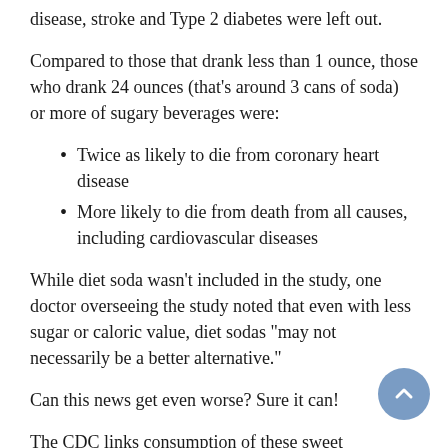disease, stroke and Type 2 diabetes were left out.
Compared to those that drank less than 1 ounce, those who drank 24 ounces (that's around 3 cans of soda) or more of sugary beverages were:
Twice as likely to die from coronary heart disease
More likely to die from death from all causes, including cardiovascular diseases
While diet soda wasn't included in the study, one doctor overseeing the study noted that even with less sugar or caloric value, diet sodas “may not necessarily be a better alternative.”
Can this news get even worse? Sure it can!
The CDC links consumption of these sweet beverages with less healthy behaviors, such as eating fast food frequently or maintaining a diet with less fruits and